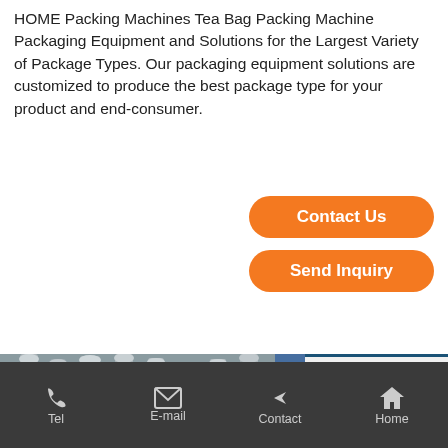HOME Packing Machines Tea Bag Packing Machine Packaging Equipment and Solutions for the Largest Variety of Package Types. Our packaging equipment solutions are customized to produce the best package type for your product and end-consumer.
[Figure (other): Orange rounded button labeled 'Contact Us']
[Figure (other): Orange rounded button labeled 'Send Inquiry']
[Figure (photo): Photo of industrial tea bag packing machine with metal cylindrical components and blue pneumatic tubes, with a metal can visible at bottom]
Tea Bag Packing Machine - Manufacturers, Suppliers
Find here information of Tea
Tel   E-mail   Contact   Home